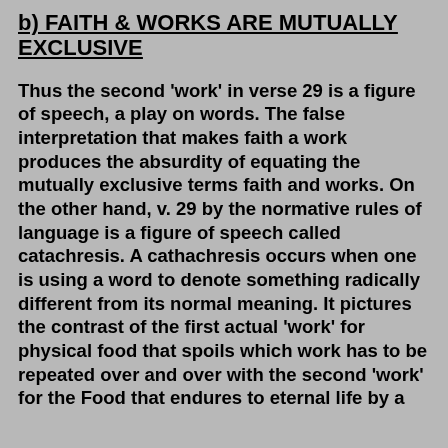b) FAITH & WORKS ARE MUTUALLY EXCLUSIVE
Thus the second 'work' in verse 29 is a figure of speech, a play on words. The false interpretation that makes faith a work produces the absurdity of equating the mutually exclusive terms faith and works. On the other hand, v. 29 by the normative rules of language is a figure of speech called catachresis. A cathachresis occurs when one is using a word to denote something radically different from its normal meaning. It pictures the contrast of the first actual 'work' for physical food that spoils which work has to be repeated over and over with the second 'work' for the Food that endures to eternal life by a